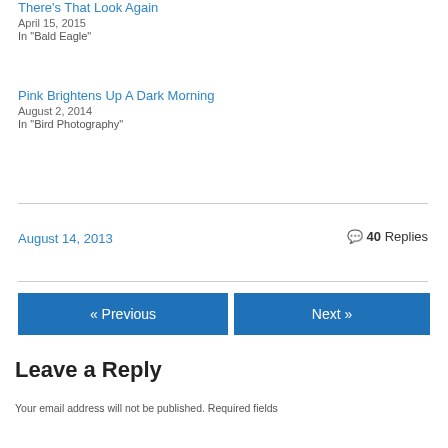There's That Look Again
April 15, 2015
In "Bald Eagle"
Pink Brightens Up A Dark Morning
August 2, 2014
In "Bird Photography"
August 14, 2013   40 Replies
« Previous
Next »
Leave a Reply
Your email address will not be published. Required fields